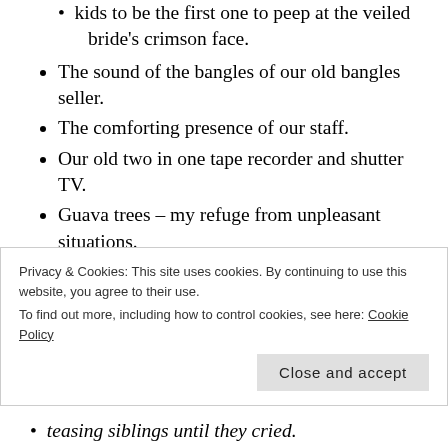kids to be the first one to peep at the veiled bride's crimson face.
The sound of the bangles of our old bangles seller.
The comforting presence of our staff.
Our old two in one tape recorder and shutter TV.
Guava trees – my refuge from unpleasant situations.
Berry tree – the place where we kids learnt to weave dreams.
Our games – Lana Fire in the Mountain, I...
Privacy & Cookies: This site uses cookies. By continuing to use this website, you agree to their use. To find out more, including how to control cookies, see here: Cookie Policy
teasing siblings until they cried.